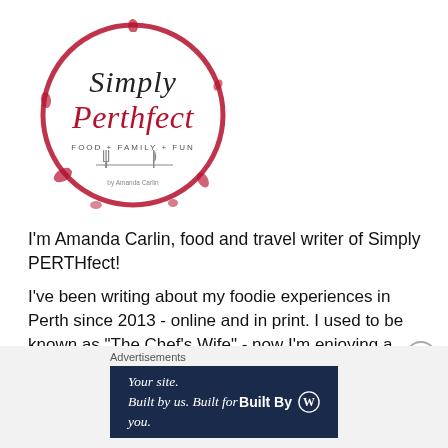[Figure (logo): Simply PERTHfect logo — circular dark red wine-splatter border with cursive 'Simply' in black, 'Perthfect' in dark red script, tagline 'FOOD + FAMILY + FUN' and a fork/knife illustration inside.]
I'm Amanda Carlin, food and travel writer of Simply PERTHfect!
I've been writing about my foodie experiences in Perth since 2013 - online and in print. I used to be known as "The Chef's Wife" - now I'm enjoying a new chapter. Welcome to my blog!
[Figure (other): Close (X) button circle icon]
Advertisements
[Figure (other): WordPress advertisement banner: 'Your site. Built by us. Built for you.' with 'Built By' WordPress logo on dark navy background.]